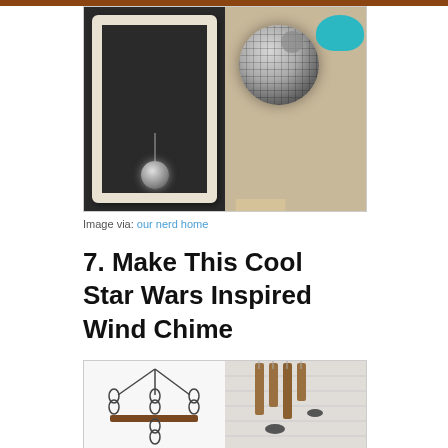[Figure (photo): Two photos side by side: left shows a white ornate picture frame with a small disco/mirror ball hanging inside against a dark background; right shows a large disco/mirror ball covered with small square mirrors with a grey circular spot, sitting on a white stand, with a blue bowl of supplies in the background.]
Image via: our nerd home
7. Make This Cool Star Wars Inspired Wind Chime
[Figure (photo): Two photos side by side: left shows a DIY wind chime with chains hanging from a triangular arrangement leading to a wooden shelf with a single chain hanging down, against a light background; right shows wind chime tubes in copper/brown with bird silhouettes hanging against white slatted background.]